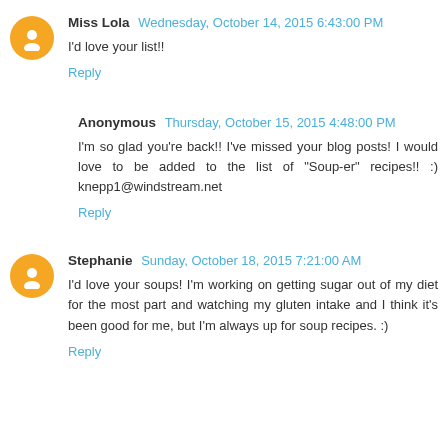Miss Lola Wednesday, October 14, 2015 6:43:00 PM
I'd love your list!!
Reply
Anonymous Thursday, October 15, 2015 4:48:00 PM
I'm so glad you're back!! I've missed your blog posts! I would love to be added to the list of "Soup-er" recipes!! :) knepp1@windstream.net
Reply
Stephanie Sunday, October 18, 2015 7:21:00 AM
I'd love your soups! I'm working on getting sugar out of my diet for the most part and watching my gluten intake and I think it's been good for me, but I'm always up for soup recipes. :)
Reply